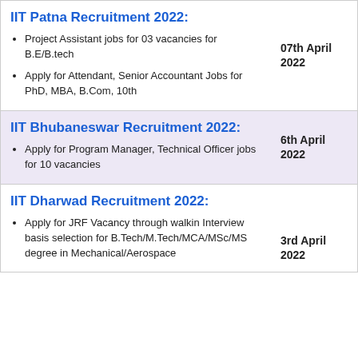IIT Patna Recruitment 2022:
Project Assistant jobs for 03 vacancies for B.E/B.tech
Apply for Attendant, Senior Accountant Jobs for PhD, MBA, B.Com, 10th
07th April 2022
IIT Bhubaneswar Recruitment 2022:
Apply for Program Manager, Technical Officer jobs for 10 vacancies
6th April 2022
IIT Dharwad Recruitment 2022:
Apply for JRF Vacancy through walkin Interview basis selection for B.Tech/M.Tech/MCA/MSc/MS degree in Mechanical/Aerospace
3rd April 2022